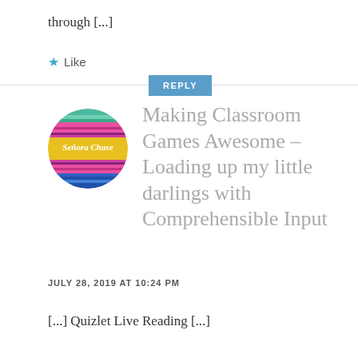through [...]
★ Like
REPLY
[Figure (illustration): Circular avatar image with colorful striped serape pattern and text 'Señora Chase' in script in the center yellow band]
Making Classroom Games Awesome – Loading up my little darlings with Comprehensible Input
JULY 28, 2019 AT 10:24 PM
[...] Quizlet Live Reading [...]